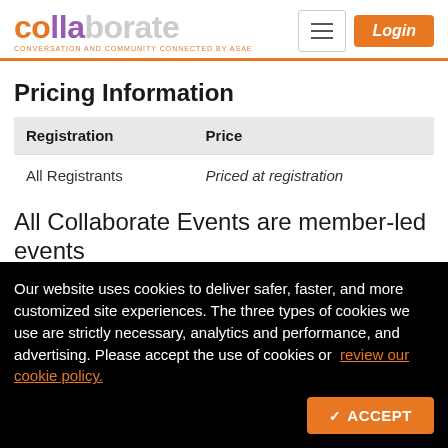collaborate CONVERSATION AND COMMUNITY CONNECTED BY ASAE
Pricing Information
| Registration | Price |
| --- | --- |
| All Registrants | Priced at registration |
All Collaborate Events are member-led events
Our website uses cookies to deliver safer, faster, and more customized site experiences. The three types of cookies we use are strictly necessary, analytics and performance, and advertising. Please accept the use of cookies or review our cookie policy.